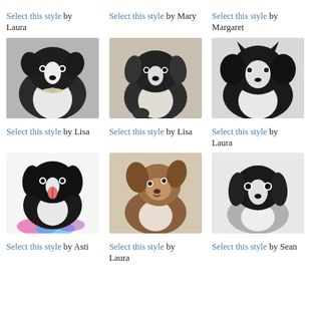Select this style by Laura
Select this style by Mary
Select this style by Margaret
[Figure (photo): Black and white dog with bow tie, realistic portrait photo]
[Figure (photo): Black and white dog portrait, pencil/charcoal art style]
[Figure (photo): Long-haired black and white dog, realistic photo]
Select this style by Lisa
Select this style by Lisa
Select this style by Laura
[Figure (photo): Black and white border collie smiling with watercolor splashes, colorful illustration]
[Figure (photo): Brown and white fluffy dog looking up, color portrait painting]
[Figure (photo): Black and white puppy, pencil sketch style]
Select this style by Asti
Select this style by Laura
Select this style by Sean